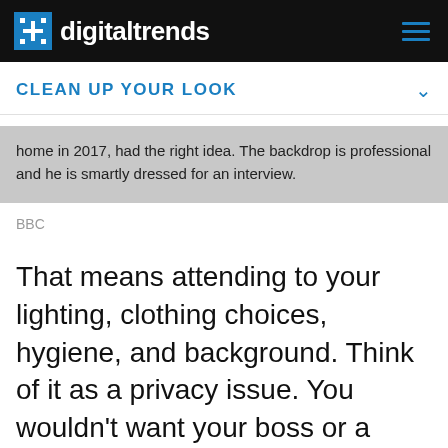digitaltrends
CLEAN UP YOUR LOOK
home in 2017, had the right idea. The backdrop is professional and he is smartly dressed for an interview.
BBC
That means attending to your lighting, clothing choices, hygiene, and background. Think of it as a privacy issue. You wouldn't want your boss or a colleague to stop by your place before you are dressed, or come